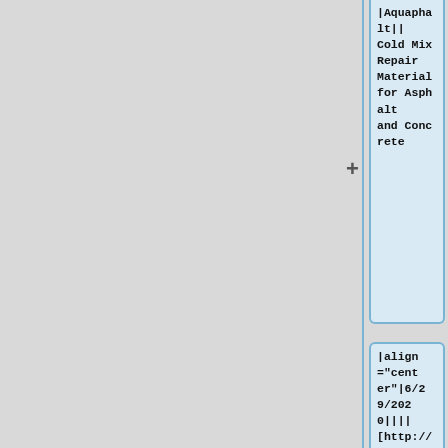|Aquaphalt||Cold Mix Repair Material for Asphalt and Concrete
|align="center"|6/29/2020||||[http://www.aquaphalt.com/aquaphalt_in_action.php Aquaphalt]
*This item is covered under the KDOT
|}